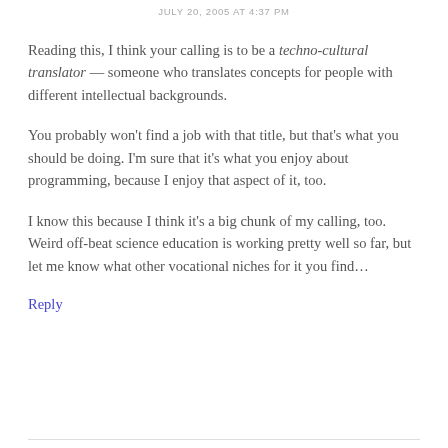JULY 20, 2005 AT 4:37 PM
Reading this, I think your calling is to be a techno-cultural translator — someone who translates concepts for people with different intellectual backgrounds.
You probably won't find a job with that title, but that's what you should be doing. I'm sure that it's what you enjoy about programming, because I enjoy that aspect of it, too.
I know this because I think it's a big chunk of my calling, too. Weird off-beat science education is working pretty well so far, but let me know what other vocational niches for it you find…
Reply